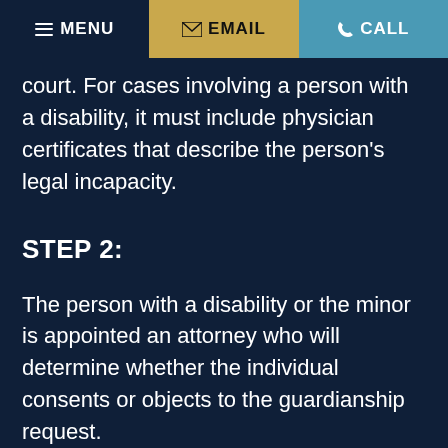MENU  EMAIL  CALL
court. For cases involving a person with a disability, it must include physician certificates that describe the person's legal incapacity.
STEP 2:
The person with a disability or the minor is appointed an attorney who will determine whether the individual consents or objects to the guardianship request.
STEP 3: